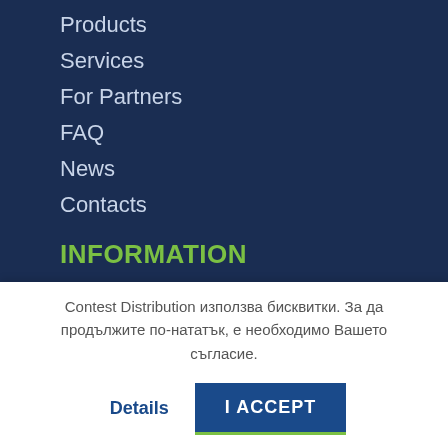Products
Services
For Partners
FAQ
News
Contacts
INFORMATION
Terms and Conditions
Privacy Policy
Contest Distribution използва бисквитки. За да продължите по-нататък, е необходимо Вашето съгласие.
Details
I ACCEPT